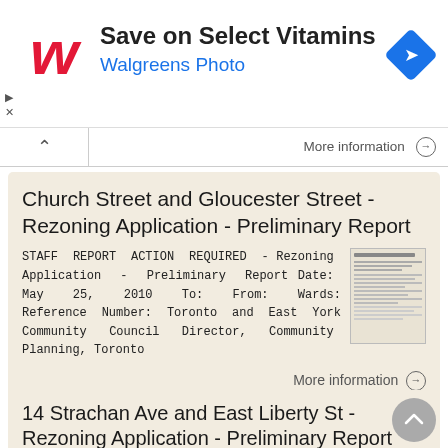[Figure (screenshot): Walgreens advertisement banner: 'Save on Select Vitamins / Walgreens Photo' with Walgreens logo and navigation icon]
More information ⊙
Church Street and Gloucester Street - Rezoning Application - Preliminary Report
STAFF REPORT ACTION REQUIRED - Rezoning Application - Preliminary Report Date: May 25, 2010 To: From: Wards: Reference Number: Toronto and East York Community Council Director, Community Planning, Toronto
More information ⊙
14 Strachan Ave and East Liberty St - Rezoning Application - Preliminary Report